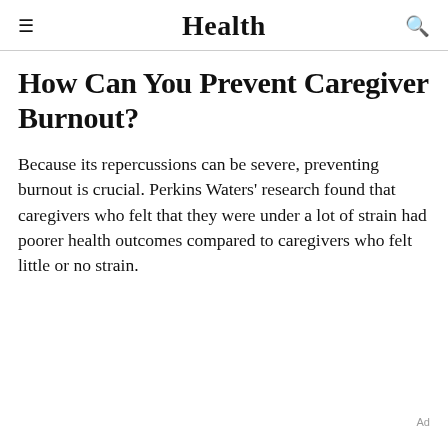Health
How Can You Prevent Caregiver Burnout?
Because its repercussions can be severe, preventing burnout is crucial. Perkins Waters' research found that caregivers who felt that they were under a lot of strain had poorer health outcomes compared to caregivers who felt little or no strain.
Ad